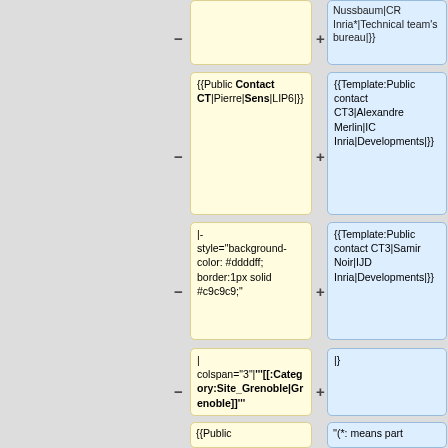[Figure (screenshot): A diff view showing two columns of wiki markup code. Left column (yellow background) shows removed content, right column (blue background) shows added content. Rows show pairs of wiki template code changes.]
Nussbaum|CR Inria*|Technical team's bureau|}}
{{Public Contact CT|Pierre|Sens|LIP6|}}
{{Template:Public contact CT3|Alexandre Merlin|IC Inria|Developments|}}
|- style="background-color: #ddddff; border:1px solid #c9c9c9;"
{{Template:Public contact CT3|Samir Noir|IJD Inria|Developments|}}
| colspan="3"| '''[[:Category:Site_Grenoble|Grenoble]]'''
|}
{{Public
''(*: means part